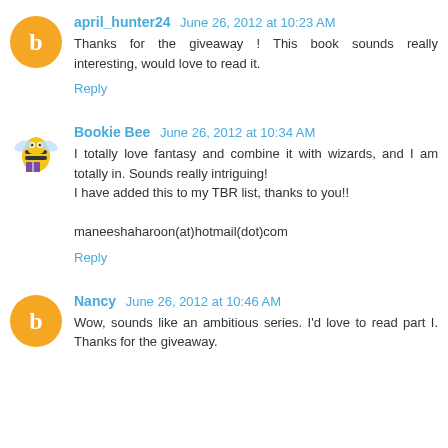april_hunter24 June 26, 2012 at 10:23 AM
Thanks for the giveaway ! This book sounds really interesting, would love to read it.
Reply
Bookie Bee June 26, 2012 at 10:34 AM
I totally love fantasy and combine it with wizards, and I am totally in. Sounds really intriguing!
I have added this to my TBR list, thanks to you!!
maneeshaharoon(at)hotmail(dot)com
Reply
Nancy June 26, 2012 at 10:46 AM
Wow, sounds like an ambitious series. I'd love to read part I. Thanks for the giveaway.